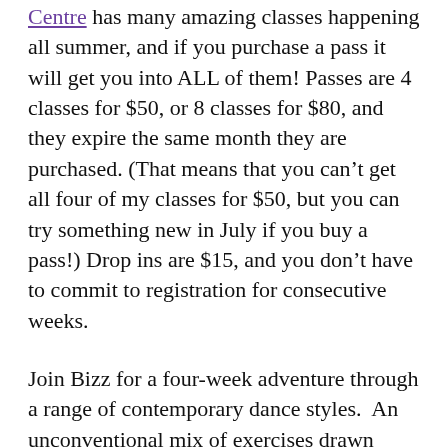Centre has many amazing classes happening all summer, and if you purchase a pass it will get you into ALL of them! Passes are 4 classes for $50, or 8 classes for $80, and they expire the same month they are purchased. (That means that you can't get all four of my classes for $50, but you can try something new in July if you buy a pass!) Drop ins are $15, and you don't have to commit to registration for consecutive weeks.
Join Bizz for a four-week adventure through a range of contemporary dance styles. An unconventional mix of exercises drawn from modern, ballet, yoga, pilates and somatic practices will follow the traditional progression from floor to centre and on to traveling steps